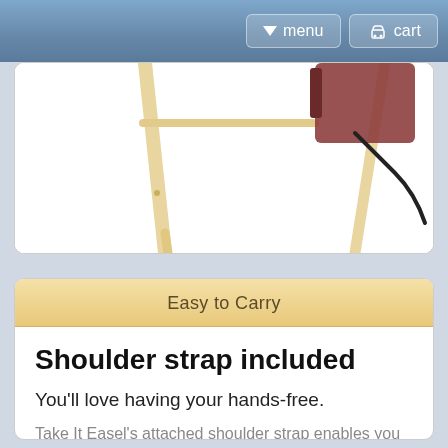menu   cart
[Figure (photo): Partial view of a wooden easel with a dark red/brown camera or bag attached, showing the wooden legs and crossbar against a white background.]
Easy to Carry
Shoulder strap included
You'll love having your hands-free.
Take It Easel's attached shoulder strap enables you to carry your other important supplies...like your coffee.